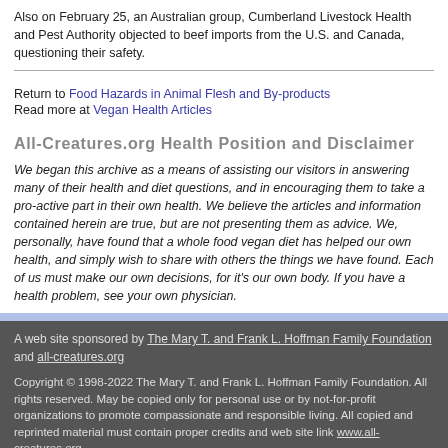Also on February 25, an Australian group, Cumberland Livestock Health and Pest Authority objected to beef imports from the U.S. and Canada, questioning their safety.
Return to Food Hazards in Animal Flesh and By-products
Read more at Vegan Health Articles
All-Creatures.org Health Position and Disclaimer
We began this archive as a means of assisting our visitors in answering many of their health and diet questions, and in encouraging them to take a pro-active part in their own health. We believe the articles and information contained herein are true, but are not presenting them as advice. We, personally, have found that a whole food vegan diet has helped our own health, and simply wish to share with others the things we have found. Each of us must make our own decisions, for it's our own body. If you have a health problem, see your own physician.
A web site sponsored by The Mary T. and Frank L. Hoffman Family Foundation and all-creatures.org
Copyright © 1998-2022 The Mary T. and Frank L. Hoffman Family Foundation. All rights reserved. May be copied only for personal use or by not-for-profit organizations to promote compassionate and responsible living. All copied and reprinted material must contain proper credits and web site link www.all-creatures.org.